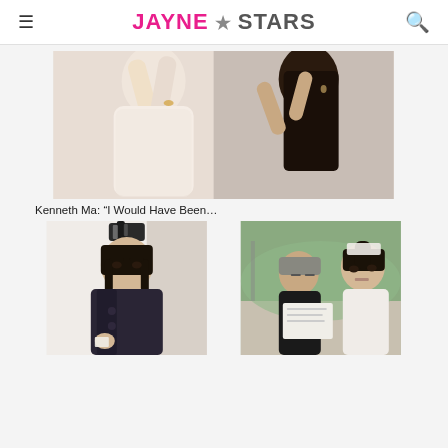Jayne Stars
[Figure (photo): Two people embracing, one person hugging the other around the neck, indoor setting]
Kenneth Ma: “I Would Have Been…
[Figure (photo): Left: young Asian male actor in period costume with ornate headdress looking intense. Right: two men reviewing a document on set outdoors.]